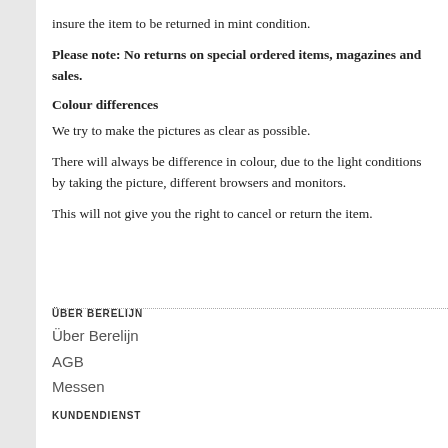insure the item to be returned in mint condition.
Please note: No returns on special ordered items, magazines and sales.
Colour differences
We try to make the pictures as clear as possible.
There will always be difference in colour, due to the light conditions by taking the picture, different browsers and monitors.
This will not give you the right to cancel or return the item.
ÜBER BERELIJN
Über Berelijn
AGB
Messen

KUNDENDIENST